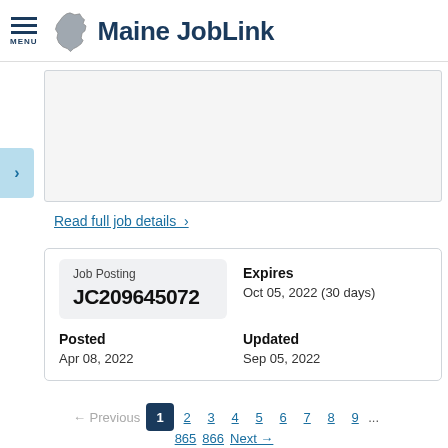Maine JobLink
Read full job details >
Job Posting
JC209645072
Expires
Oct 05, 2022 (30 days)
Posted
Apr 08, 2022
Updated
Sep 05, 2022
← Previous  1  2  3  4  5  6  7  8  9  ...  865  866  Next →